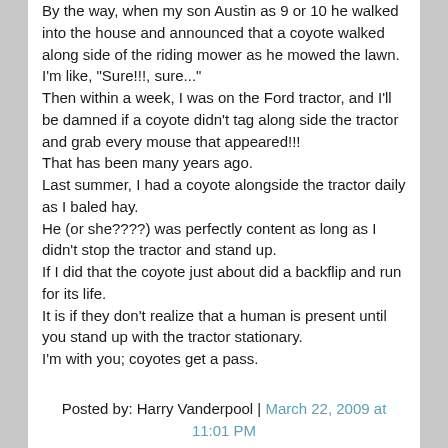By the way, when my son Austin as 9 or 10 he walked into the house and announced that a coyote walked along side of the riding mower as he mowed the lawn. I'm like, "Sure!!!, sure..." Then within a week, I was on the Ford tractor, and I'll be damned if a coyote didn't tag along side the tractor and grab every mouse that appeared!!! That has been many years ago. Last summer, I had a coyote alongside the tractor daily as I baled hay. He (or she????) was perfectly content as long as I didn't stop the tractor and stand up. If I did that the coyote just about did a backflip and run for its life. It is if they don't realize that a human is present until you stand up with the tractor stationary. I'm with you; coyotes get a pass.
Posted by: Harry Vanderpool | March 22, 2009 at 11:01 PM